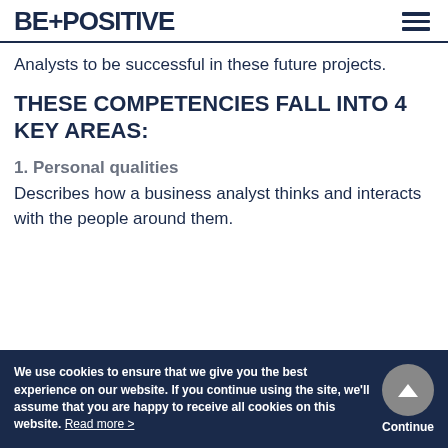BEPOSITIVE
Analysts to be successful in these future projects.
THESE COMPETENCIES FALL INTO 4 KEY AREAS:
1. Personal qualities
Describes how a business analyst thinks and interacts with the people around them.
We use cookies to ensure that we give you the best experience on our website. If you continue using the site, we'll assume that you are happy to receive all cookies on this website. Read more >